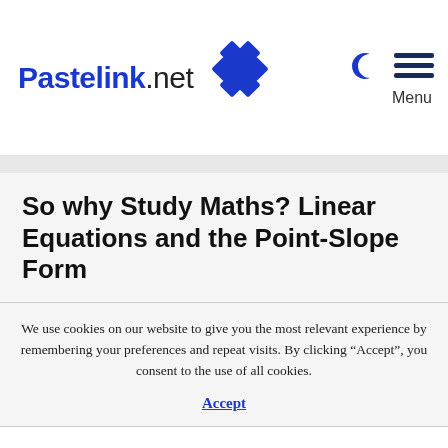Pastelink.net
So why Study Maths? Linear Equations and the Point-Slope Form
We use cookies on our website to give you the most relevant experience by remembering your preferences and repeat visits. By clicking “Accept”, you consent to the use of all cookies.
Accept